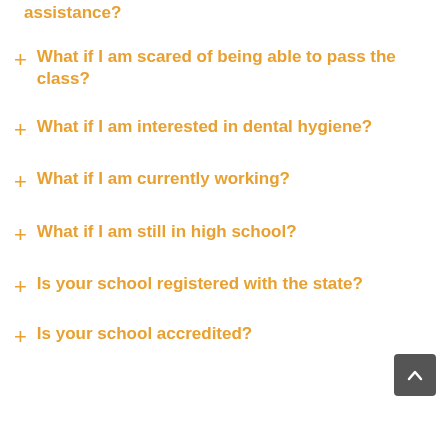+ What if I am scared of being able to pass the class?
+ What if I am interested in dental hygiene?
+ What if I am currently working?
+ What if I am still in high school?
+ Is your school registered with the state?
+ Is your school accredited?